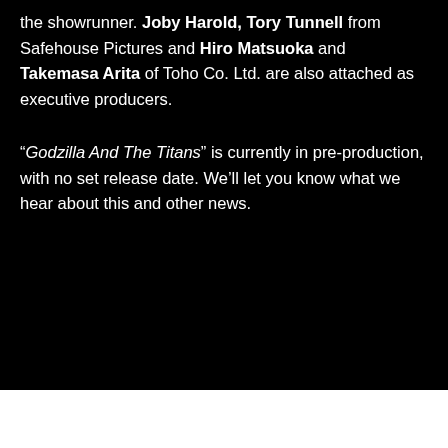the showrunner. Joby Harold, Tory Tunnell from Safehouse Pictures and Hiro Matsuoka and Takemasa Arita of Toho Co. Ltd. are also attached as executive producers.
"Godzilla And The Titans" is currently in pre-production, with no set release date. We'll let you know what we hear about this and other news.